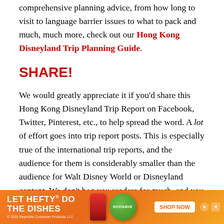comprehensive planning advice, from how long to visit to language barrier issues to what to pack and much, much more, check out our Hong Kong Disneyland Trip Planning Guide.
SHARE!
We would greatly appreciate it if you'd share this Hong Kong Disneyland Trip Report on Facebook, Twitter, Pinterest, etc., to help spread the word. A lot of effort goes into trip report posts. This is especially true of the international trip reports, and the audience for them is considerably smaller than the audience for Walt Disney World or Disneyland content. We don't beg you readers for much, and you can consider sharing this post your act of charity for the day. (Really though, any time you laugh at one ... [obscured] ...ted as charit... [obscured] ...for
[Figure (infographic): Advertisement banner: orange background with 'LET HEFTY DO THE DISHES' text, Hefty and EcoSave product images, and a 'SHOP NOW' button. Copyright 2022 Reynolds Consumer Products LLC.]